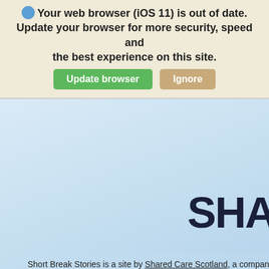Your web browser (iOS 11) is out of date. Update your browser for more security, speed and the best experience on this site.
Update browser  Ignore
[Figure (screenshot): Light blue gradient background area with partial website logo text 'SHA' visible in large dark navy font in the lower right]
Short Break Stories is a site by Shared Care Scotland, a company limited b
Designed and developed by Do Good. This site uses a few cookies more on